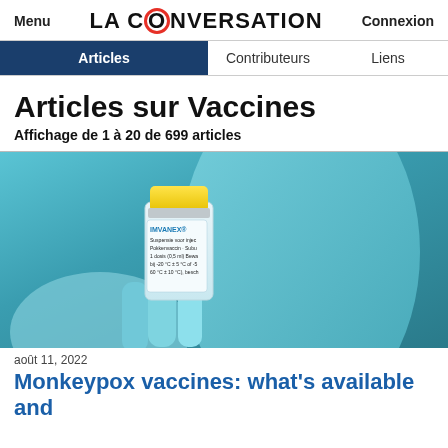Menu   LA CONVERSATION   Connexion
Articles   Contributeurs   Liens
Articles sur Vaccines
Affichage de 1 à 20 de 699 articles
[Figure (photo): A gloved hand in teal/blue surgical gloves holding a small glass vial labeled IMVANEX (monkeypox vaccine). The vial has a yellow cap and shows text: Suspensie voor injectie, Pokkenvaccin · Subu..., 1 dosis (0,5 ml) Bewar..., bij -20 °C ± 5 °C of -50..., 60 °C ± 10 °C), besche...]
août 11, 2022
Monkeypox vaccines: what's available and